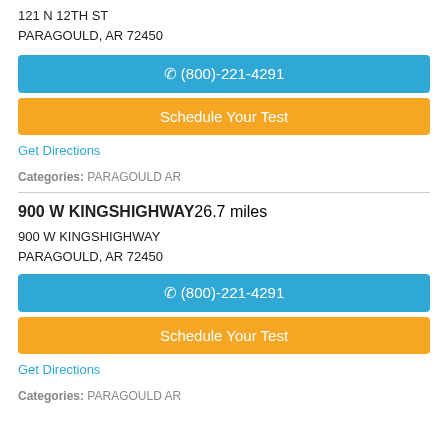121 N 12TH ST
PARAGOULD, AR 72450
(800)-221-4291
Schedule Your Test
Get Directions
Categories: PARAGOULD AR
900 W KINGSHIGHWAY 26.7 miles
900 W KINGSHIGHWAY
PARAGOULD, AR 72450
(800)-221-4291
Schedule Your Test
Get Directions
Categories: PARAGOULD AR